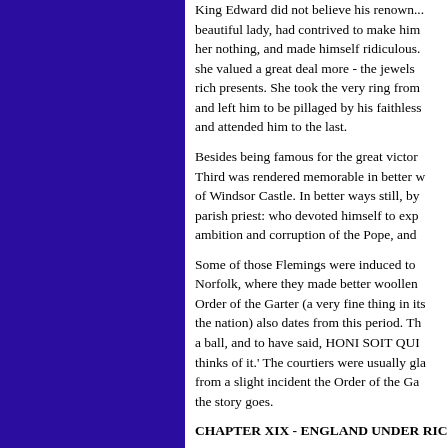King Edward did not believe his renown... beautiful lady, had contrived to make him her nothing, and made himself ridiculous. she valued a great deal more - the jewels rich presents. She took the very ring from and left him to be pillaged by his faithless and attended him to the last.
Besides being famous for the great victor Third was rendered memorable in better of Windsor Castle. In better ways still, by parish priest: who devoted himself to exp ambition and corruption of the Pope, and
Some of those Flemings were induced to Norfolk, where they made better woollen Order of the Garter (a very fine thing in its the nation) also dates from this period. Th a ball, and to have said, HONI SOIT QUI thinks of it.' The courtiers were usually gla from a slight incident the Order of the Ga the story goes.
CHAPTER XIX - ENGLAND UNDER RIC
RICHARD, son of the Black Prince, a boy under the title of King Richard the Second him for the sake of his brave father. As to him to be the most beautiful, the wisest, a ladies about the Court, generally declared mankind. To flatter a poor boy in this base